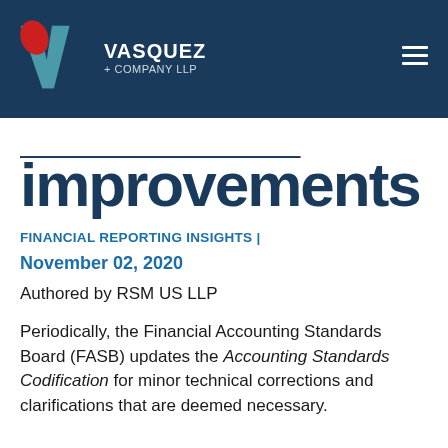VASQUEZ + COMPANY LLP
improvements
FINANCIAL REPORTING INSIGHTS  |
November 02, 2020
Authored by RSM US LLP
Periodically, the Financial Accounting Standards Board (FASB) updates the Accounting Standards Codification for minor technical corrections and clarifications that are deemed necessary.